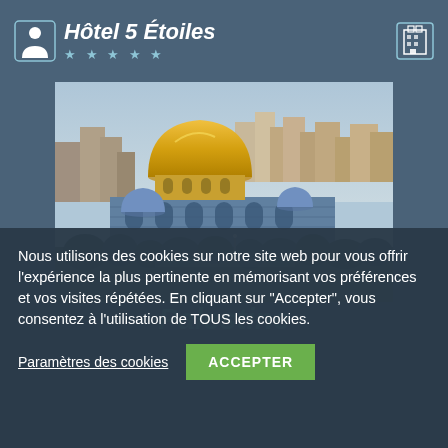Hôtel 5 Étoiles ★★★★★
[Figure (photo): Aerial photo of Jerusalem with the Dome of the Rock (golden dome) prominently visible, blue domes, and cityscape in the background]
Palestine
Nous utilisons des cookies sur notre site web pour vous offrir l'expérience la plus pertinente en mémorisant vos préférences et vos visites répétées. En cliquant sur "Accepter", vous consentez à l'utilisation de TOUS les cookies.
Paramètres des cookies | ACCEPTER